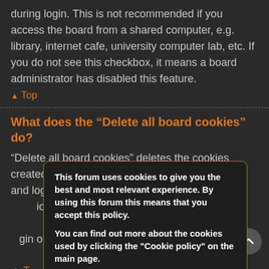during login. This is not recommended if you access the board from a shared computer, e.g. library, internet cafe, university computer lab, etc. If you do not see this checkbox, it means a board administrator has disabled this feature.
▲ Top
What does the “Delete all board cookies” do?
“Delete all board cookies” deletes the cookies created by phpBB which keep you authenticated and logged into the board. It also provides functions such as read tracking if they have been enabled by a board administrator. If you are having login or logout problems, deleting board cookies may help.
▲ Top
This forum uses cookies to give you the best and most relevant experience. By using this forum this means that you accept this policy.

You can find out more about the cookies used by clicking the "Cookie policy" on the main page.

[ I accept ]